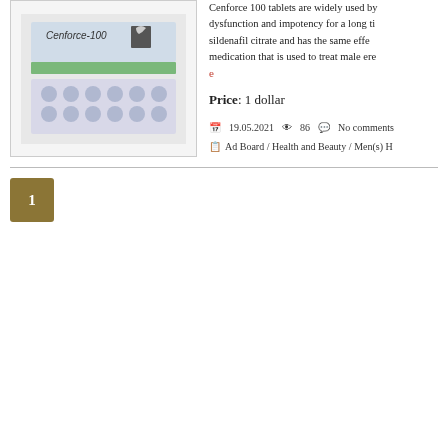[Figure (photo): Product image of Cenforce-100 tablet blister pack]
Cenforce 100 tablets are widely used by dysfunction and impotency for a long time sildenafil citrate and has the same effect medication that is used to treat male erectile e
Price: 1 dollar
19.05.2021   86   No comments
Ad Board / Health and Beauty / Men(s) H
1